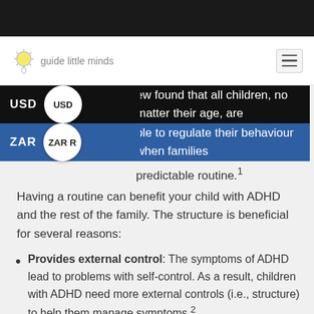guide little minds
ew found that all children, no matter their age, are ble to regulate their behaviour when families predictable routine.1
Having a routine can benefit your child with ADHD and the rest of the family. The structure is beneficial for several reasons:
Provides external control: The symptoms of ADHD lead to problems with self-control. As a result, children with ADHD need more external controls (i.e., structure) to help them manage symptoms.2